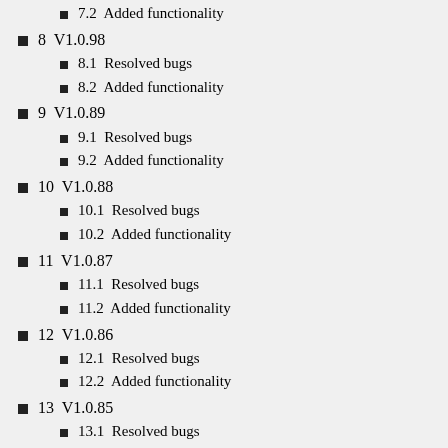7.2  Added functionality
8  V1.0.98
8.1  Resolved bugs
8.2  Added functionality
9  V1.0.89
9.1  Resolved bugs
9.2  Added functionality
10  V1.0.88
10.1  Resolved bugs
10.2  Added functionality
11  V1.0.87
11.1  Resolved bugs
11.2  Added functionality
12  V1.0.86
12.1  Resolved bugs
12.2  Added functionality
13  V1.0.85
13.1  Resolved bugs
13.2  Added functionality
14  V1.0.84
14.1  Resolved bugs
14.2  Added functionality
15  V1.0.83
15.1  Resolved bugs
15.2  Added functionality
16  V1.0.82